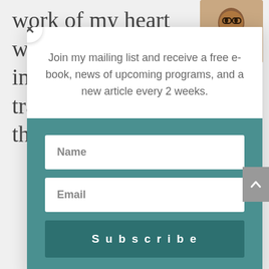work of my heart was like stepping in front of a train track. It was faith, then
[Figure (photo): Portrait photo of a smiling woman wearing glasses]
Join my mailing list and receive a free e-book, news of upcoming programs, and a new article every 2 weeks.
Name
Email
Subscribe